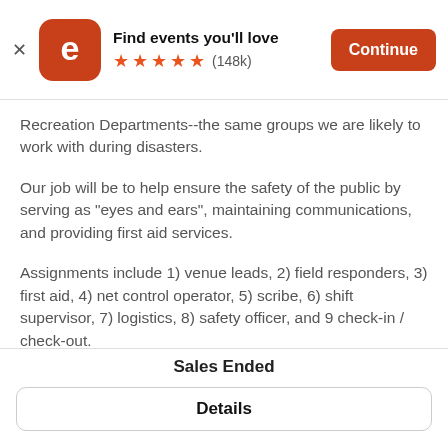[Figure (screenshot): Eventbrite app banner with logo, 'Find events you'll love' text, 5 orange stars, (148k) reviews, and orange Continue button]
Recreation Departments--the same groups we are likely to work with during disasters.
Our job will be to help ensure the safety of the public by serving as "eyes and ears", maintaining communications, and providing first aid services.
Assignments include 1) venue leads, 2) field responders, 3) first aid, 4) net control operator, 5) scribe, 6) shift supervisor, 7) logistics, 8) safety officer, and 9 check-in / check-out.
Our operating period will be 7:00 pm - 11:00 pm, July 4, and check-in will be at your assigned venue.
Sales Ended
Details